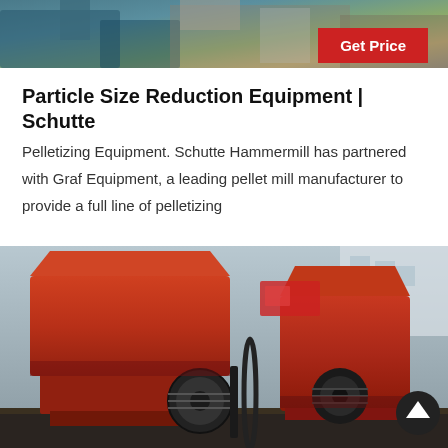[Figure (photo): Top portion of industrial machinery/equipment image, partially cropped at top of page]
Get Price
Particle Size Reduction Equipment | Schutte
Pelletizing Equipment. Schutte Hammermill has partnered with Graf Equipment, a leading pellet mill manufacturer to provide a full line of pelletizing
[Figure (photo): Large orange/red industrial hammer mill machines photographed outdoors, showing heavy metal crushing equipment with belt drive pulleys and wheels]